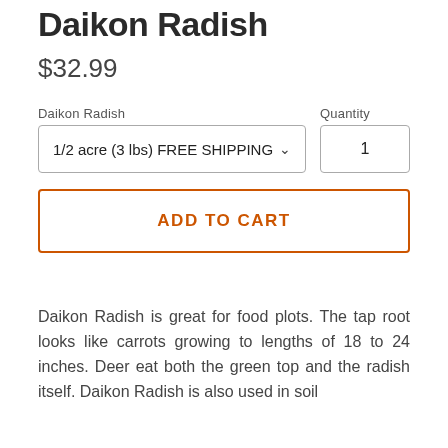Daikon Radish
$32.99
Daikon Radish  1/2 acre (3 lbs) FREE SHIPPING  Quantity  1
ADD TO CART
Daikon Radish is great for food plots.  The tap root looks like carrots growing to lengths of 18 to 24 inches. Deer eat both the green top and the radish itself. Daikon Radish is also used in soil